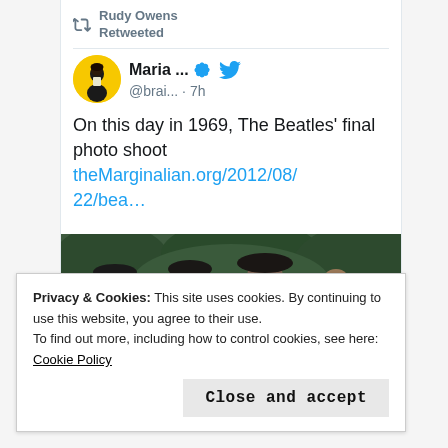Rudy Owens Retweeted
Maria ... @brai... · 7h
On this day in 1969, The Beatles' final photo shoot theMarginalian.org/2012/08/22/bea…
[Figure (photo): Four members of The Beatles standing together outdoors in 1969, wearing hats and dark clothing]
Privacy & Cookies: This site uses cookies. By continuing to use this website, you agree to their use.
To find out more, including how to control cookies, see here: Cookie Policy
Close and accept